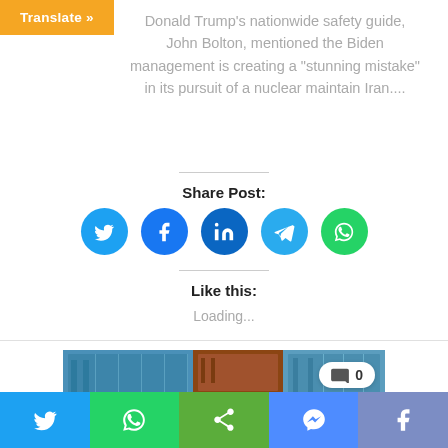Donald Trump's nationwide safety guide, John Bolton, mentioned the Biden management is creating a "stunning mistake" in its pursuit of a nuclear maintain Iran....
Share Post:
[Figure (infographic): Five social media share buttons as colored circles: Twitter (cyan), Facebook (blue), LinkedIn (dark blue), Telegram (light blue), WhatsApp (green)]
Like this:
Loading...
[Figure (photo): Photo of stacked shipping containers in blue and brown/red colors, with a comment badge showing 0 comments]
[Figure (infographic): Bottom navigation bar with five social share buttons: Twitter (cyan), WhatsApp (green), Share (lime green), Messenger (blue), Facebook (slate blue)]